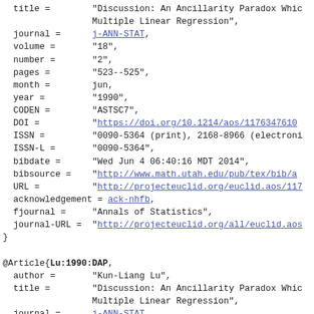BibTeX code block showing two @Article entries with fields: title, journal, volume, number, pages, month, year, CODEN, DOI, ISSN, ISSN-L, bibdate, bibsource, URL, acknowledgement, fjournal, journal-URL, author